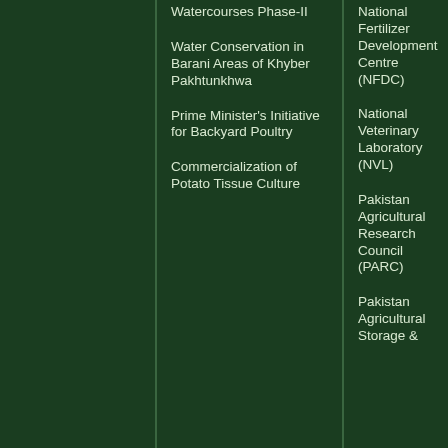Watercourses Phase-II
Water Conservation in Barani Areas of Khyber Pakhtunkhwa
Prime Minister's Initiative for Backyard Poultry
Commercialization of Potato Tissue Culture
National Fertilizer Development Centre (NFDC)
National Veterinary Laboratory (NVL)
Pakistan Agricultural Research Council (PARC)
Pakistan Agricultural Storage &